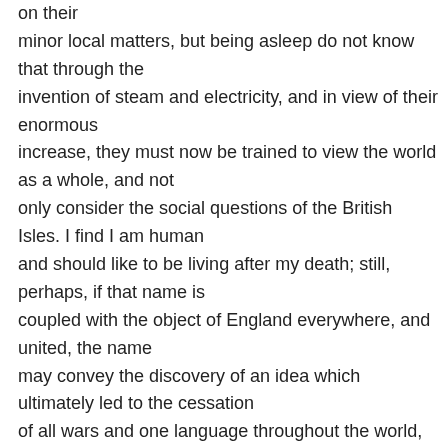on their minor local matters, but being asleep do not know that through the invention of steam and electricity, and in view of their enormous increase, they must now be trained to view the world as a whole, and not only consider the social questions of the British Isles. I find I am human and should like to be living after my death; still, perhaps, if that name is coupled with the object of England everywhere, and united, the name may convey the discovery of an idea which ultimately led to the cessation of all wars and one language throughout the world, the patent being the gradual absorption of wealth and human minds of the higher order to the object." The “inventor’s patent” Rhodes spoke of was the creation of the Society